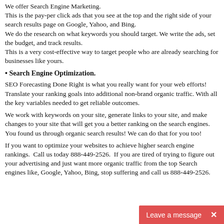We offer Search Engine Marketing. This is the pay-per click ads that you see at the top and the right side of your search results page on Google, Yahoo, and Bing. We do the research on what keywords you should target. We write the ads, set the budget, and track results. This is a very cost-effective way to target people who are already searching for businesses like yours.
• Search Engine Optimization.
SEO Forecasting Done Right is what you really want for your web efforts! Translate your ranking goals into additional non-brand organic traffic. With all the key variables needed to get reliable outcomes.
We work with keywords on your site, generate links to your site, and make changes to your site that will get you a better ranking on the search engines.  You found us through organic search results! We can do that for you too!
If you want to optimize your websites to achieve higher search engine rankings.  Call us today 888-449-2526.  If you are tired of trying to figure out your advertising and just want more organic traffic from the top Search engines like, Google, Yahoo, Bing, stop suffering and call us 888-449-2526.